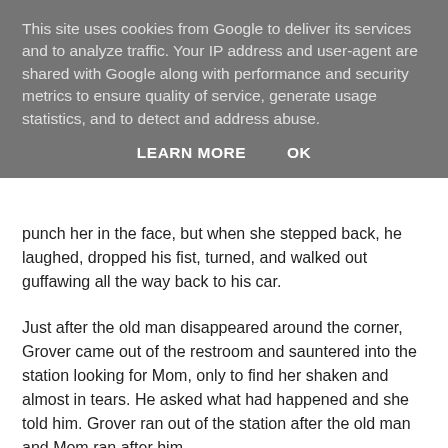This site uses cookies from Google to deliver its services and to analyze traffic. Your IP address and user-agent are shared with Google along with performance and security metrics to ensure quality of service, generate usage statistics, and to detect and address abuse.
LEARN MORE    OK
punch her in the face, but when she stepped back, he laughed, dropped his fist, turned, and walked out guffawing all the way back to his car.
Just after the old man disappeared around the corner, Grover came out of the restroom and sauntered into the station looking for Mom, only to find her shaken and almost in tears. He asked what had happened and she told him. Grover ran out of the station after the old man and Mom ran after him.
When she came around the corner, she saw that Grover had already knocked the old man to the ground and was